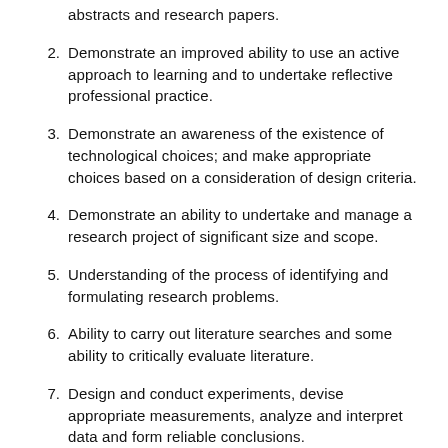abstracts and research papers.
2. Demonstrate an improved ability to use an active approach to learning and to undertake reflective professional practice.
3. Demonstrate an awareness of the existence of technological choices; and make appropriate choices based on a consideration of design criteria.
4. Demonstrate an ability to undertake and manage a research project of significant size and scope.
5. Understanding of the process of identifying and formulating research problems.
6. Ability to carry out literature searches and some ability to critically evaluate literature.
7. Design and conduct experiments, devise appropriate measurements, analyze and interpret data and form reliable conclusions.
8. Demonstrate awareness of the importance of